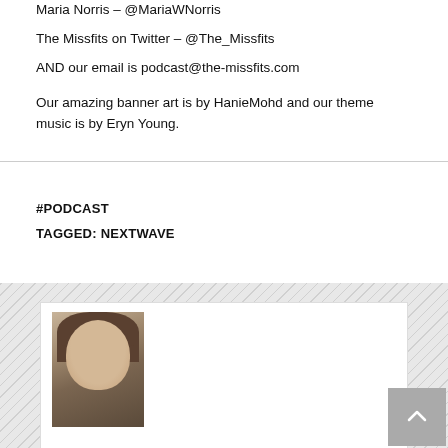Maria Norris – @MariaWNorris
The Missfits on Twitter – @The_Missfits
AND our email is podcast@the-missfits.com

Our amazing banner art is by HanieMohd and our theme music is by Eryn Young.
#PODCAST
TAGGED: NEXTWAVE
[Figure (photo): Portrait photo of a woman with long brown hair and bangs, smiling, wearing a dark top, shown from shoulders up against a warm background.]